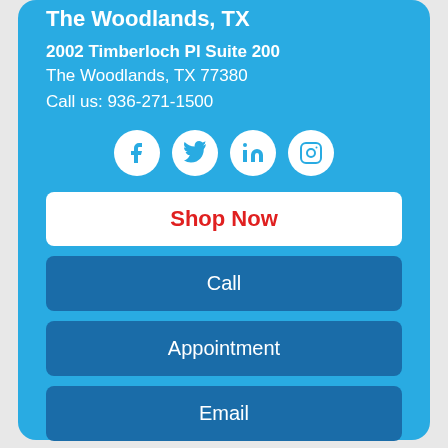The Woodlands, TX
2002 Timberloch Pl Suite 200
The Woodlands, TX 77380
Call us: 936-271-1500
[Figure (infographic): Row of four white circular social media icons: Facebook, Twitter, LinkedIn, Instagram on a blue background]
Shop Now
Call
Appointment
Email
Directions